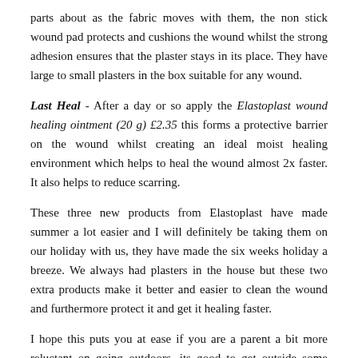parts about as the fabric moves with them, the non stick wound pad protects and cushions the wound whilst the strong adhesion ensures that the plaster stays in its place. They have large to small plasters in the box suitable for any wound.
Last Heal - After a day or so apply the Elastoplast wound healing ointment (20 g) £2.35 this forms a protective barrier on the wound whilst creating an ideal moist healing environment which helps to heal the wound almost 2x faster. It also helps to reduce scarring.
These three new products from Elastoplast have made summer a lot easier and I will definitely be taking them on our holiday with us, they have made the six weeks holiday a breeze. We always had plasters in the house but these two extra products make it better and easier to clean the wound and furthermore protect it and get it healing faster.
I hope this puts you at ease if you are a parent a bit more reluctant on going outdoors, its good to get outside some fresh air and Vitamin D and good for the soul. All I remember from my childhood is being outdoors, climbing trees, playing football, riding my bike and I had